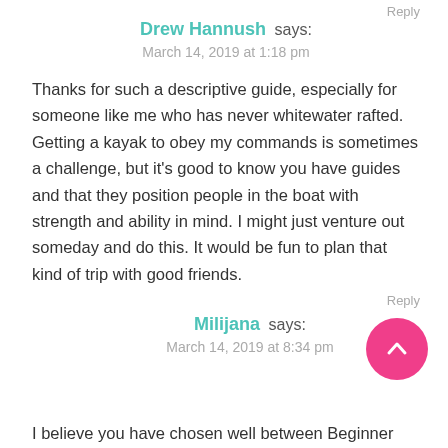Reply
Drew Hannush says:
March 14, 2019 at 1:18 pm
Thanks for such a descriptive guide, especially for someone like me who has never whitewater rafted. Getting a kayak to obey my commands is sometimes a challenge, but it’s good to know you have guides and that they position people in the boat with strength and ability in mind. I might just venture out someday and do this. It would be fun to plan that kind of trip with good friends.
Reply
Milijana says:
March 14, 2019 at 8:34 pm
I believe you have chosen well between Beginner...